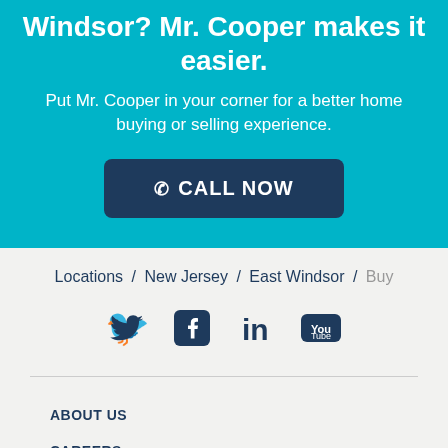Windsor? Mr. Cooper makes it easier.
Put Mr. Cooper in your corner for a better home buying or selling experience.
CALL NOW
Locations / New Jersey / East Windsor / Buy
[Figure (infographic): Social media icons: Twitter, Facebook, LinkedIn, YouTube]
ABOUT US
CAREERS